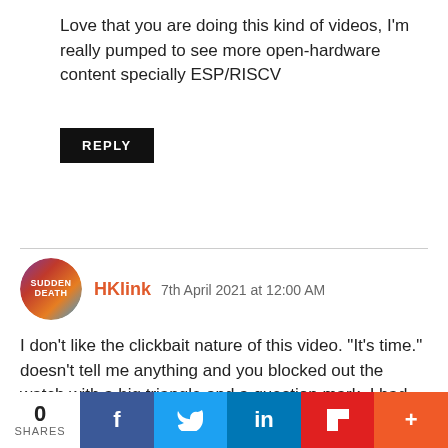Love that you are doing this kind of videos, I'm really pumped to see more open-hardware content specially ESP/RISCV
REPLY
HKlink 7th April 2021 at 12:00 AM
I don't like the clickbait nature of this video. "It's time." doesn't tell me anything and you blocked out the watch with a big triangle and a question mark. I had no idea what I was going to watch before clicking, and in fact, I clicked it to find out what it
0 SHARES  f  t  in  F  +